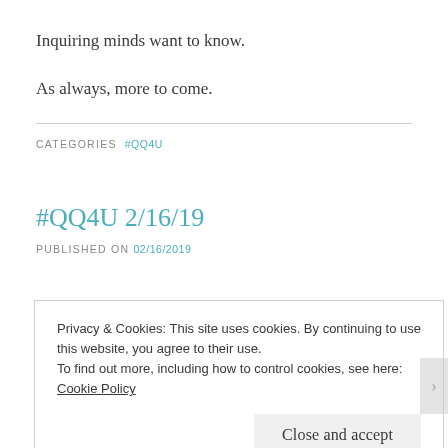Inquiring minds want to know.
As always, more to come.
CATEGORIES #QQ4U
#QQ4U 2/16/19
PUBLISHED ON 02/16/2019
Privacy & Cookies: This site uses cookies. By continuing to use this website, you agree to their use. To find out more, including how to control cookies, see here: Cookie Policy
Close and accept